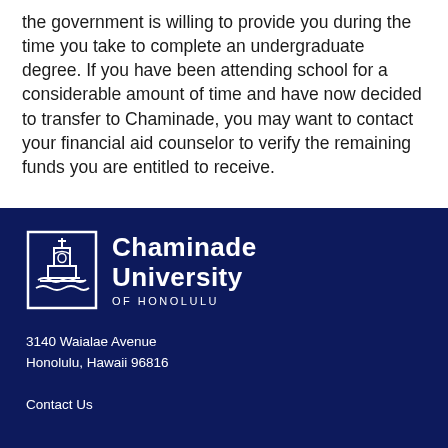the government is willing to provide you during the time you take to complete an undergraduate degree. If you have been attending school for a considerable amount of time and have now decided to transfer to Chaminade, you may want to contact your financial aid counselor to verify the remaining funds you are entitled to receive.
[Figure (logo): Chaminade University of Honolulu logo — white tower/chapel icon with wave motif in a square border, beside white text reading 'Chaminade University OF HONOLULU']
3140 Waialae Avenue
Honolulu, Hawaii 96816

Contact Us